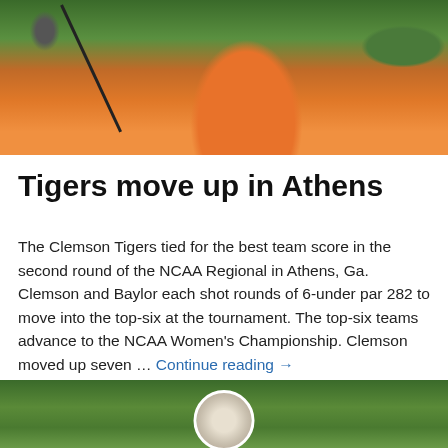[Figure (photo): A female golfer in an orange shirt swinging a golf club, with a green background]
Tigers move up in Athens
The Clemson Tigers tied for the best team score in the second round of the NCAA Regional in Athens, Ga. Clemson and Baylor each shot rounds of 6-under par 282 to move into the top-six at the tournament. The top-six teams advance to the NCAA Women's Championship. Clemson moved up seven … Continue reading →
May 9, 2017  Leave a Reply
[Figure (photo): A golfer wearing a white hat photographed outdoors with green foliage background]